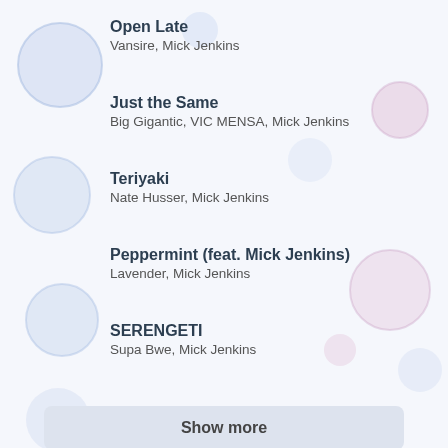Open Late
Vansire, Mick Jenkins
Just the Same
Big Gigantic, VIC MENSA, Mick Jenkins
Teriyaki
Nate Husser, Mick Jenkins
Peppermint (feat. Mick Jenkins)
Lavender, Mick Jenkins
SERENGETI
Supa Bwe, Mick Jenkins
Show more
Latest lyrics
UNDER CONSTRUCTION
Coop, NXTMIKE